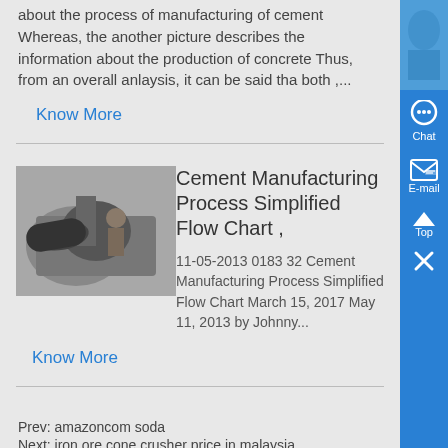about the process of manufacturing of cement Whereas, the another picture describes the information about the production of concrete Thus, from an overall anlaysis, it can be said tha both ,...
Know More
[Figure (photo): Thumbnail image related to cement manufacturing process]
Cement Manufacturing Process Simplified Flow Chart ,
11-05-2013 0183 32 Cement Manufacturing Process Simplified Flow Chart March 15, 2017 May 11, 2013 by Johnny...
Know More
Prev: amazoncom soda
Next: iron ore cone crusher price in malaysia